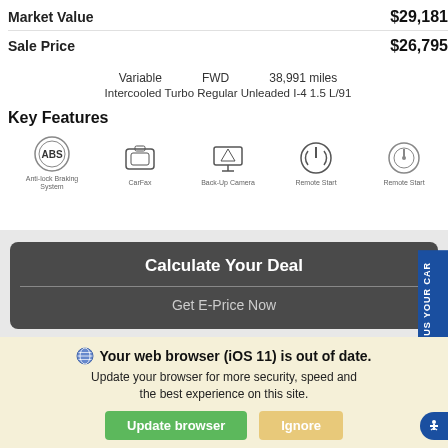Market Value  $29,181
Sale Price  $26,795
Variable   FWD   38,991 miles
Intercooled Turbo Regular Unleaded I-4 1.5 L/91
Key Features
[Figure (infographic): Five key feature icons: ABS (Anti-lock Braking System), CarFax (camera/media icon), Back-Up Camera, Remote Start, Remote Start]
[Figure (screenshot): Calculate Your Deal button with Get E-Price Now link, followed by First Name, Last Name, and Email form fields]
SELL US YOUR CAR
Your web browser (iOS 11) is out of date. Update your browser for more security, speed and the best experience on this site.
Update browser   Ignore